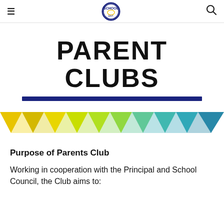≡  [school logo]  🔍
PARENT CLUBS
[Figure (illustration): Decorative triangular pennant banner strip with colour gradient from yellow/gold on the left transitioning through lime green and teal to dark blue on the right]
Purpose of Parents Club
Working in cooperation with the Principal and School Council, the Club aims to: